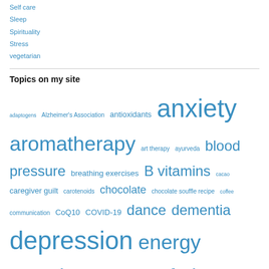Self care
Sleep
Spirituality
Stress
vegetarian
Topics on my site
adaptogens Alzheimer's Association antioxidants anxiety aromatherapy art therapy ayurveda blood pressure breathing exercises B vitamins cacao caregiver guilt carotenoids chocolate chocolate souffle recipe coffee communication CoQ10 COVID-19 dance dementia depression energy exercise family care giver consultant fatigue food fruits and vegetables green tea health hydration Immunity inflammation insomnia journaling lavender oil